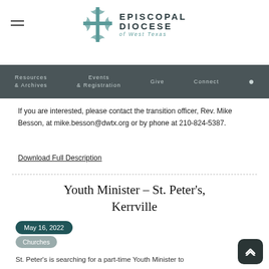Episcopal Diocese of West Texas
Resources & Archives | Events & Registration | Give | Connect
If you are interested, please contact the transition officer, Rev. Mike Besson, at mike.besson@dwtx.org or by phone at 210-824-5387.
Download Full Description
Youth Minister – St. Peter's, Kerrville
May 16, 2022
Churches
St. Peter's is searching for a part-time Youth Minister to